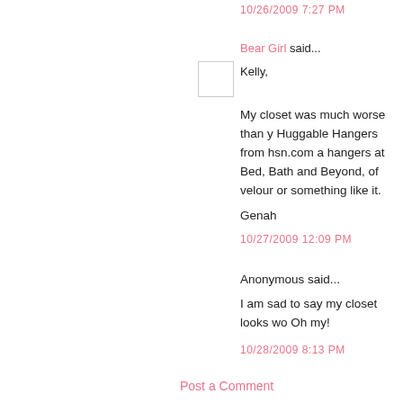10/26/2009 7:27 PM
Bear Girl said...
Kelly,
My closet was much worse than y... Huggable Hangers from hsn.com a... hangers at Bed, Bath and Beyond,... of velour or something like it.
Genah
10/27/2009 12:09 PM
Anonymous said...
I am sad to say my closet looks wo... Oh my!
10/28/2009 8:13 PM
Post a Comment